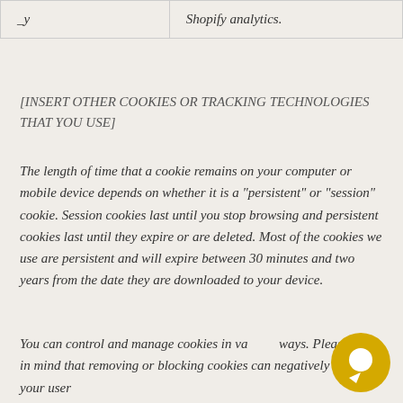| _y | Shopify analytics. |
[INSERT OTHER COOKIES OR TRACKING TECHNOLOGIES THAT YOU USE]
The length of time that a cookie remains on your computer or mobile device depends on whether it is a “persistent” or “session” cookie. Session cookies last until you stop browsing and persistent cookies last until they expire or are deleted. Most of the cookies we use are persistent and will expire between 30 minutes and two years from the date they are downloaded to your device.
You can control and manage cookies in various ways. Please keep in mind that removing or blocking cookies can negatively impact your user